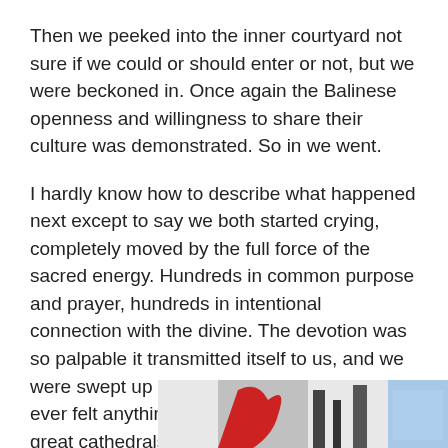Then we peeked into the inner courtyard not sure if we could or should enter or not, but we were beckoned in. Once again the Balinese openness and willingness to share their culture was demonstrated. So in we went.
I hardly know how to describe what happened next except to say we both started crying, completely moved by the full force of the sacred energy. Hundreds in common purpose and prayer, hundreds in intentional connection with the divine. The devotion was so palpable it transmitted itself to us, and we were swept up in it. So moving. I can't say I've ever felt anything quite like this in any of the great cathedrals of Europe.
Inner courtyard
[Figure (photo): Partial bottom-right image showing what appears to be a decorative or artistic element with red and dark tones, partially cropped.]